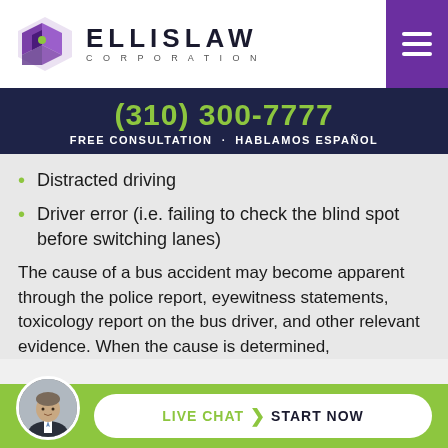[Figure (logo): Ellis Law Corporation logo with purple geometric diamond icon and bold text ELLISLAW CORPORATION]
(310) 300-7777
FREE CONSULTATION · HABLAMOS ESPAÑOL
Distracted driving
Driver error (i.e. failing to check the blind spot before switching lanes)
The cause of a bus accident may become apparent through the police report, eyewitness statements, toxicology report on the bus driver, and other relevant evidence. When the cause is determined,
[Figure (illustration): Live chat button with attorney avatar photo and LIVE CHAT > START NOW CTA on green bar]